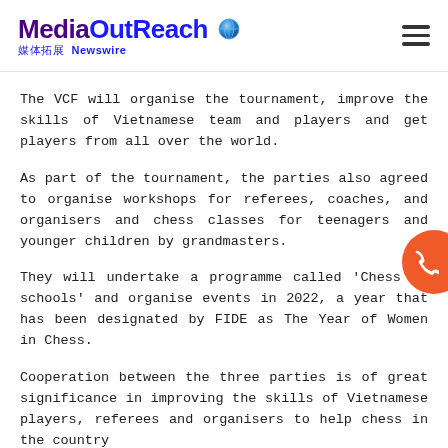MediaOutReach 媒体拓展 Newswire
The VCF will organise the tournament, improve the skills of Vietnamese team and players and get players from all over the world.
As part of the tournament, the parties also agreed to organise workshops for referees, coaches, and organisers and chess classes for teenagers and younger children by grandmasters.
They will undertake a programme called 'Chess in schools' and organise events in 2022, a year that has been designated by FIDE as The Year of Women in Chess.
Cooperation between the three parties is of great significance in improving the skills of Vietnamese players, referees and organisers to help chess in the country